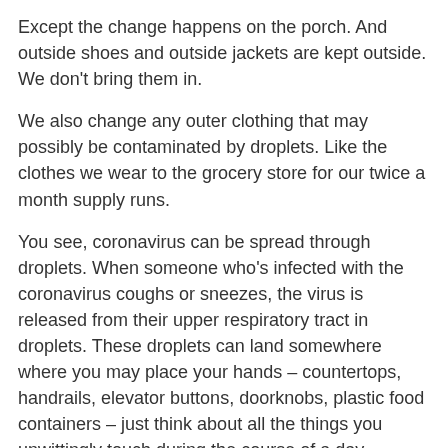Except the change happens on the porch. And outside shoes and outside jackets are kept outside. We don't bring them in.
We also change any outer clothing that may possibly be contaminated by droplets. Like the clothes we wear to the grocery store for our twice a month supply runs.
You see, coronavirus can be spread through droplets. When someone who's infected with the coronavirus coughs or sneezes, the virus is released from their upper respiratory tract in droplets. These droplets can land somewhere where you may place your hands – countertops, handrails, elevator buttons, doorknobs, plastic food containers – just think about all the things you unwittingly touch during the course of a day.
If there's droplets carrying coronavirus on those surfaces that you touch and you then touch your face, mouth, nose or eyes – you will become infected too.